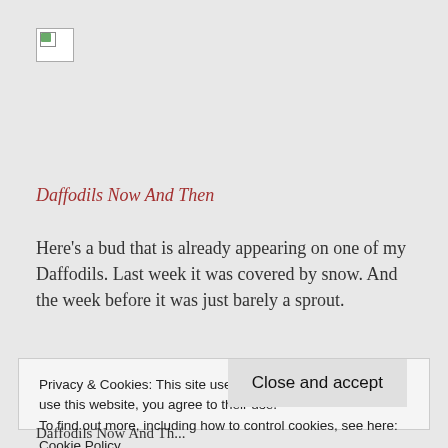[Figure (logo): Small broken image icon in top-left, appears to be a partially loaded landscape/nature image thumbnail]
Daffodils Now And Then
Here's a bud that is already appearing on one of my Daffodils. Last week it was covered by snow. And the week before it was just barely a sprout.
Privacy & Cookies: This site uses cookies. By continuing to use this website, you agree to their use.
To find out more, including how to control cookies, see here: Cookie Policy
Close and accept
Daffodils Now And Th...